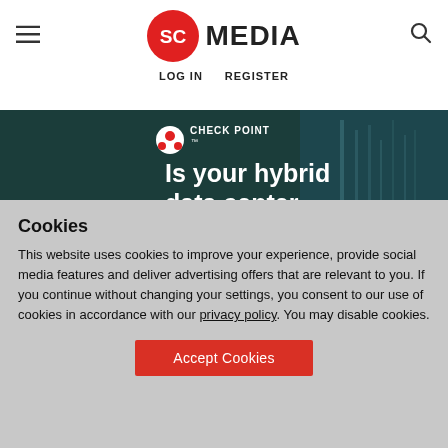SC MEDIA — LOG IN  REGISTER
[Figure (screenshot): Check Point advertisement banner: 'Is your hybrid data center at risk? 5 Min. Assessment' on dark teal background with server room imagery]
Cookies
This website uses cookies to improve your experience, provide social media features and deliver advertising offers that are relevant to you. If you continue without changing your settings, you consent to our use of cookies in accordance with our privacy policy. You may disable cookies.
Accept Cookies